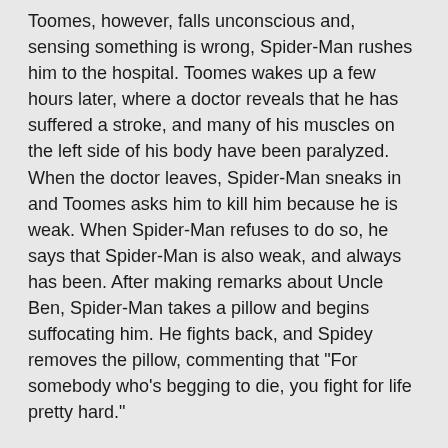Toomes, however, falls unconscious and, sensing something is wrong, Spider-Man rushes him to the hospital. Toomes wakes up a few hours later, where a doctor reveals that he has suffered a stroke, and many of his muscles on the left side of his body have been paralyzed. When the doctor leaves, Spider-Man sneaks in and Toomes asks him to kill him because he is weak. When Spider-Man refuses to do so, he says that Spider-Man is also weak, and always has been. After making remarks about Uncle Ben, Spider-Man takes a pillow and begins suffocating him. He fights back, and Spidey removes the pillow, commenting that "For somebody who's begging to die, you fight for life pretty hard."
When Al Kraven began collecting a zoo of animal themed superhumans, Vulture was one of his captives. To stop Vulture from using his intellect to find away to remove his bomb collar, Kraven broke his hands repeatedly but with